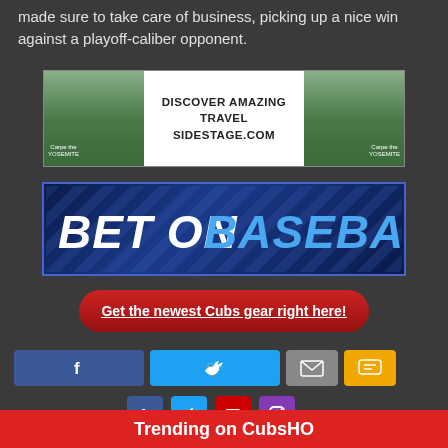made sure to take care of business, picking up a nice win against a playoff-caliber opponent.
[Figure (advertisement): Travel advertisement banner for SideStage.com showing mountain/Yosemite scenery with white center panel reading 'DISCOVER AMAZING TRAVEL SIDESTAGE.COM']
[Figure (advertisement): Dark blue sports betting banner with diagonal stripes reading 'BET ON BASEBALL' in white and blue bold italic text]
Get the newest Cubs gear right here!
[Figure (infographic): Social share buttons row: Facebook (blue), Twitter (light blue), Email (gray), SMS (yellow)]
Follow us:
[Figure (infographic): Follow us social buttons: Facebook, Twitter, YouTube, Instagram]
Trending on CubsHO